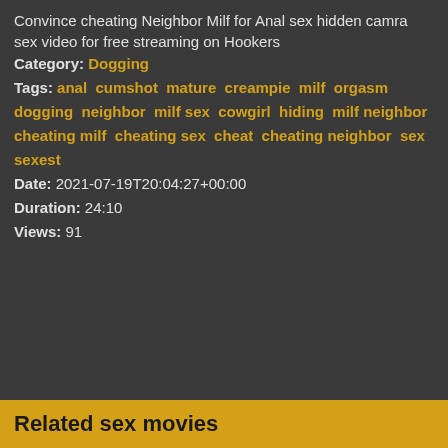Convince cheating Neighbor Milf for Anal sex hidden camra sex video for free streaming on Hookers
Category: Dogging
Tags: anal cumshot mature creampie milf orgasm dogging neighbor milf sex cowgirl hiding milf neighbor cheating milf cheating sex cheat cheating neighbor sex sexest
Date: 2021-07-19T20:04:27+00:00
Duration: 24:10
Views: 91
Related sex movies